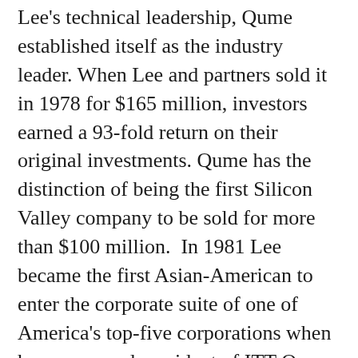Lee's technical leadership, Qume established itself as the industry leader. When Lee and partners sold it in 1978 for $165 million, investors earned a 93-fold return on their original investments. Qume has the distinction of being the first Silicon Valley company to be sold for more than $100 million.  In 1981 Lee became the first Asian-American to enter the corporate suite of one of America's top-five corporations when he was named president of ITT Qume and chairman of ITT's business information systems group. After ITT sold its computing division to Alcatel in 1978, Lee left to start a series of tech companies.
As a child, Lee had left China with his family for Hong Kong and Taiwan before settling in